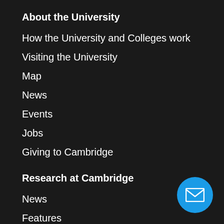About the University
How the University and Colleges work
Visiting the University
Map
News
Events
Jobs
Giving to Cambridge
Research at Cambridge
News
Features
[Figure (illustration): Blue circular button with white envelope/mail icon in the bottom right corner]